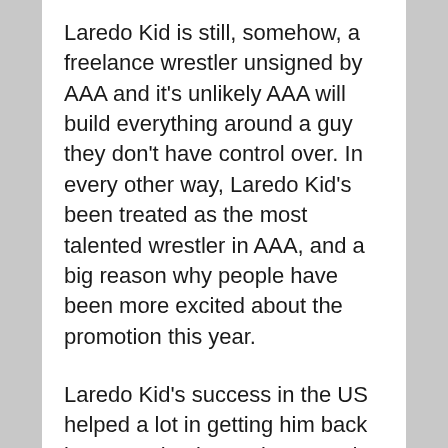Laredo Kid is still, somehow, a freelance wrestler unsigned by AAA and it's unlikely AAA will build everything around a guy they don't have control over. In every other way, Laredo Kid's been treated as the most talented wrestler in AAA, and a big reason why people have been more excited about the promotion this year.
Laredo Kid's success in the US helped a lot in getting him back into attention in Mexico. Laredo getting even more in Mexico has not led far at all. One Mexican match did get Laredo Kid the AEW spot this Saturday, though only as a third